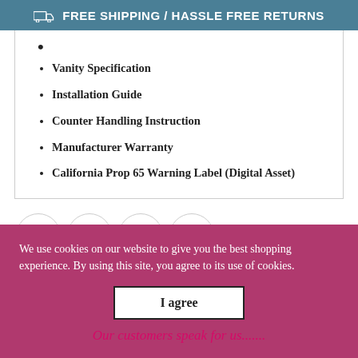FREE SHIPPING / HASSLE FREE RETURNS
Vanity Specification
Installation Guide
Counter Handling Instruction
Manufacturer Warranty
California Prop 65 Warning Label (Digital Asset)
[Figure (infographic): Social share icons: Twitter, Facebook, Pinterest, Email — circular outlined buttons]
We use cookies on our website to give you the best shopping experience. By using this site, you agree to its use of cookies.
I agree
Our customers speak for us.......